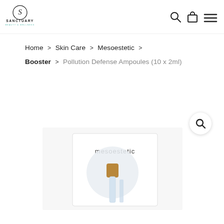[Figure (logo): Sanctuary Beauty & Wellness logo — circular S monogram above SANCTUARY text with BEAUTY & WELLNESS subtitle in teal]
[Figure (infographic): Navigation icons: search magnifier, shopping bag, and hamburger menu lines]
Home > Skin Care > Mesoestetic > Booster > Pollution Defense Ampoules (10 x 2ml)
[Figure (photo): Product photo of Mesoestetic Pollution Defense Ampoules box with a glass ampoule visible, on white background. A magnify/zoom search icon button in top-right corner.]